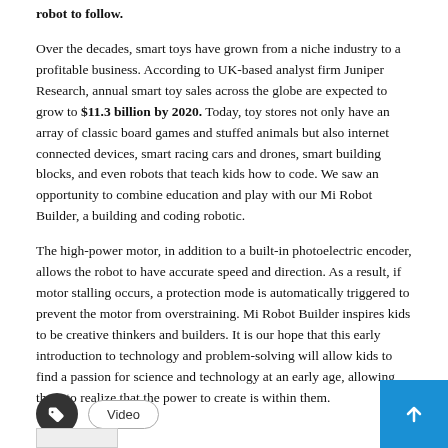robot to follow.
Over the decades, smart toys have grown from a niche industry to a profitable business. According to UK-based analyst firm Juniper Research, annual smart toy sales across the globe are expected to grow to $11.3 billion by 2020. Today, toy stores not only have an array of classic board games and stuffed animals but also internet connected devices, smart racing cars and drones, smart building blocks, and even robots that teach kids how to code. We saw an opportunity to combine education and play with our Mi Robot Builder, a building and coding robotic.
The high-power motor, in addition to a built-in photoelectric encoder, allows the robot to have accurate speed and direction. As a result, if motor stalling occurs, a protection mode is automatically triggered to prevent the motor from overstraining. Mi Robot Builder inspires kids to be creative thinkers and builders. It is our hope that this early introduction to technology and problem-solving will allow kids to find a passion for science and technology at an early age, allowing them to realize that the power to create is within them.